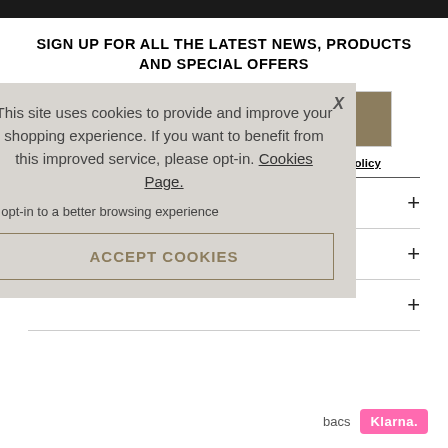SIGN UP FOR ALL THE LATEST NEWS, PRODUCTS AND SPECIAL OFFERS
Enter Email Address...
To see how we process your data view our Privacy Policy
This site uses cookies to provide and improve your shopping experience. If you want to benefit from this improved service, please opt-in. Cookies Page.
I opt-in to a better browsing experience
ACCEPT COOKIES